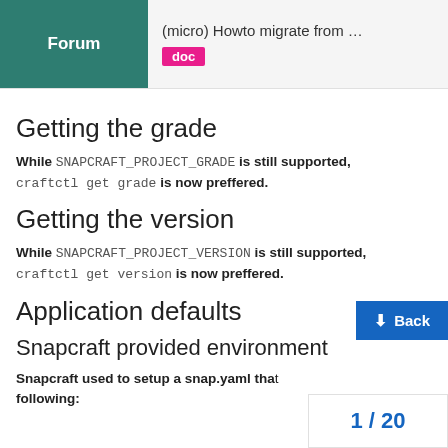Forum | (micro) Howto migrate from ... doc
Getting the grade
While SNAPCRAFT_PROJECT_GRADE is still supported, craftctl get grade is now preffered.
Getting the version
While SNAPCRAFT_PROJECT_VERSION is still supported, craftctl get version is now preffered.
Application defaults
Snapcraft provided environment
Snapcraft used to setup a snap.yaml that following: